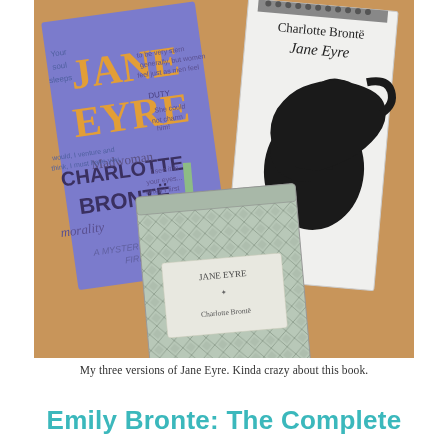[Figure (photo): Three different editions of the book Jane Eyre by Charlotte Brontë arranged on a wooden surface. Left: a purple hardcover with word-cloud typography design. Right: a white softcover with silhouette of a woman's head profile, titled 'Charlotte Brontë Jane Eyre'. Center front: a small decorative hardcover with a geometric patterned cover and a green ribbon bookmark.]
My three versions of Jane Eyre. Kinda crazy about this book.
Emily Bronte: The Complete